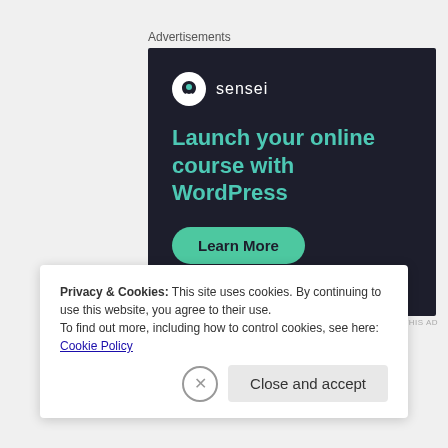Advertisements
[Figure (illustration): Sensei advertisement on dark background: 'Launch your online course with WordPress' with a Learn More button and Powered by WordPress.com footer]
REPORT THIS AD
Privacy & Cookies: This site uses cookies. By continuing to use this website, you agree to their use.
To find out more, including how to control cookies, see here: Cookie Policy
Close and accept